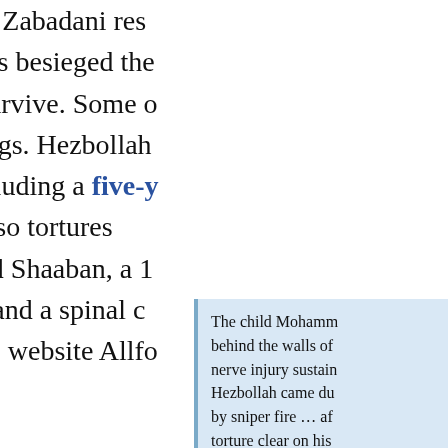vast majority of Zabadani residents. Hezbollah forces besieged the town… from trees to survive. Some of their surroundings. Hezbollah seek to flee, including a five-y… Hezbollah also tortures was Mohammed Shaaban, a 1 to malnutrition and a spinal c… opposition news website Allfo…
The child Mohamm… behind the walls of… nerve injury sustain… Hezbollah came du… by sniper fire … af… torture clear on his… the streets screami… while he was arres…